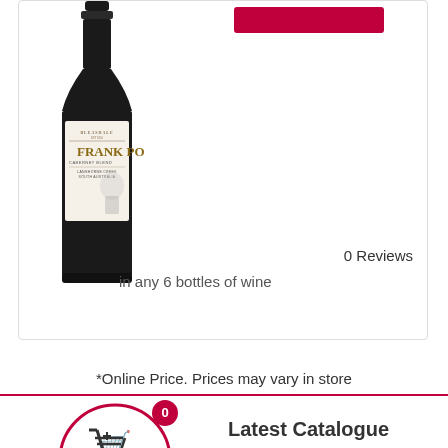[Figure (photo): Wine bottle with Bleasdale Frank Potts Cabernet Blend label from Langhorne Creek, South Australia]
0 Reviews
in any 6 bottles of wine
*Online Price. Prices may vary in store
[Figure (logo): Shopping cart icon inside a red circle with book/catalogue logo, badge showing 0]
Latest Catalogue